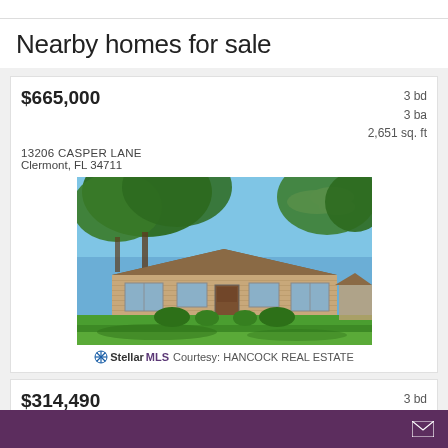Nearby homes for sale
$665,000
13206 CASPER LANE
Clermont, FL 34711
3 bd
3 ba
2,651 sq. ft
[Figure (photo): Exterior photo of a single-story brick ranch home with a large front lawn and trees overhead]
StellarMLS Courtesy: HANCOCK REAL ESTATE
$314,490
3 bd